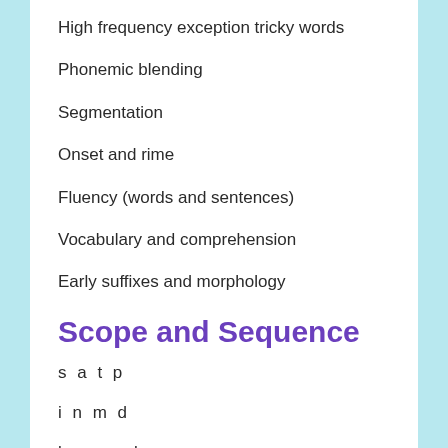High frequency exception tricky words
Phonemic blending
Segmentation
Onset and rime
Fluency (words and sentences)
Vocabulary and comprehension
Early suffixes and morphology
Scope and Sequence
s a t p
i n m d
b o r c k